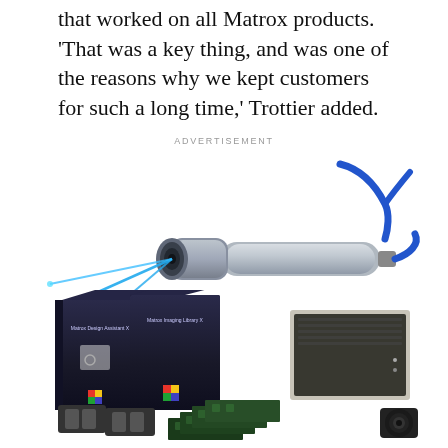that worked on all Matrox products. ‘That was a key thing, and was one of the reasons why we kept customers for such a long time,’ Trottier added.
ADVERTISEMENT
[Figure (photo): Photo of a cylindrical laser sensor/scanner device with blue cable and blue laser beams emanating from the front lens]
[Figure (photo): Photo of Matrox imaging products including software boxes (Matrox Design Assistant X and Matrox Imaging Library X), a computer/server unit, cameras, circuit boards/frame grabber cards, and a lens]